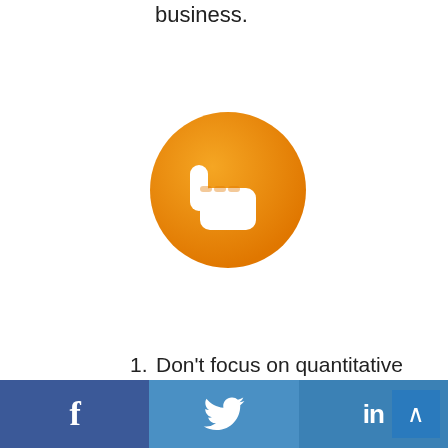business.
[Figure (illustration): Orange circle with white thumbs-down icon]
Don’t focus on quantitative data alone. Qualitative data is also important.
Don’t work in isolation. Everyone is responsible for a great user experience.
Don’t forget the “wow” factor. Being feature driven is so last year!
f  🐦  in